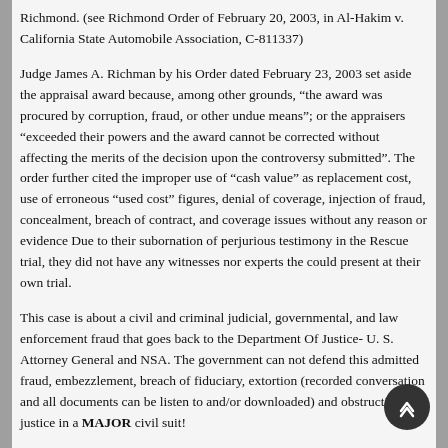Richmond. (see Richmond Order of February 20, 2003, in Al-Hakim v. California State Automobile Association, C-811337)
Judge James A. Richman by his Order dated February 23, 2003 set aside the appraisal award because, among other grounds, “the award was procured by corruption, fraud, or other undue means”; or the appraisers “exceeded their powers and the award cannot be corrected without affecting the merits of the decision upon the controversy submitted”. The order further cited the improper use of “cash value” as replacement cost, use of erroneous “used cost” figures, denial of coverage, injection of fraud, concealment, breach of contract, and coverage issues without any reason or evidence Due to their subornation of perjurious testimony in the Rescue trial, they did not have any witnesses nor experts the could present at their own trial.
This case is about a civil and criminal judicial, governmental, and law enforcement fraud that goes back to the Department Of Justice- U. S. Attorney General and NSA. The government can not defend this admitted fraud, embezzlement, breach of fiduciary, extortion (recorded conversation and all documents can be listen to and/or downloaded) and obstruction of justice in a MAJOR civil suit!
CSAA was rewarded for their efforts as they even represented the judge in this case, Judge Jon Tigar, in his Disqualification Challenge for Cause filed by al-Hakim, wherein Judge Tigar